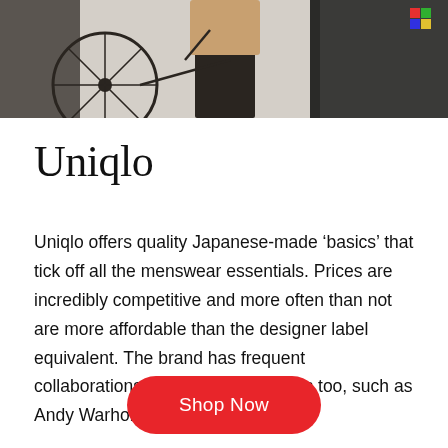[Figure (photo): Partial photo showing a person in a tan jacket standing near a bicycle against a dark green/grey background, cropped at the bottom of the image strip]
Uniqlo
Uniqlo offers quality Japanese-made ‘basics’ that tick off all the menswear essentials. Prices are incredibly competitive and more often than not are more affordable than the designer label equivalent. The brand has frequent collaborations with industry big-wigs too, such as Andy Warhol and JW Anderson.
Shop Now